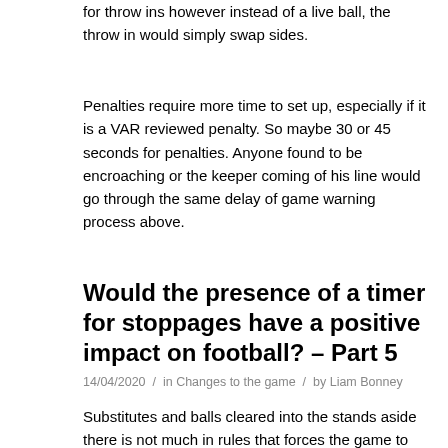for throw ins however instead of a live ball, the throw in would simply swap sides.
Penalties require more time to set up, especially if it is a VAR reviewed penalty. So maybe 30 or 45 seconds for penalties. Anyone found to be encroaching or the keeper coming of his line would go through the same delay of game warning process above.
Would the presence of a timer for stoppages have a positive impact on football? – Part 5
14/04/2020  /  in Changes to the game  /  by Liam Bonney
Substitutes and balls cleared into the stands aside there is not much in rules that forces the game to restarted overly quickly, and it is largely up to the referee's discretion to do so. If there for a matter of position for fleecing more than the